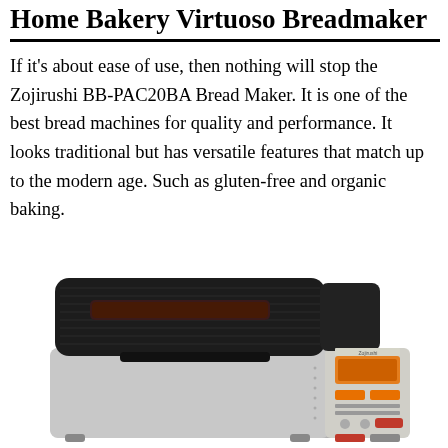Home Bakery Virtuoso Breadmaker
If it's about ease of use, then nothing will stop the Zojirushi BB-PAC20BA Bread Maker. It is one of the best bread machines for quality and performance. It looks traditional but has versatile features that match up to the modern age. Such as gluten-free and organic baking.
[Figure (photo): Photo of a Zojirushi Home Bakery Virtuoso Breadmaker — a stainless steel and black bread machine with a textured black lid containing a viewing window slot, and a control panel on the right side with an orange LCD display and multiple buttons.]